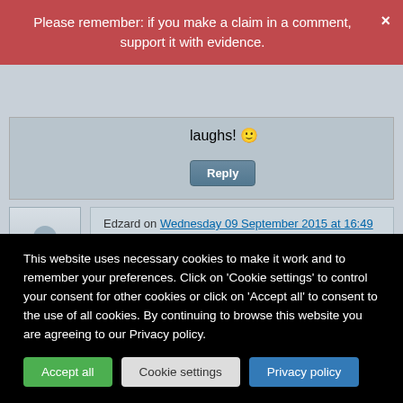Please remember: if you make a claim in a comment, support it with evidence.
laughs! 🙂
Reply
Edzard on Wednesday 09 September 2015 at 16:49
NO, I HADN'T but several commentators mentioned the incident
This website uses necessary cookies to make it work and to remember your preferences. Click on 'Cookie settings' to control your consent for other cookies or click on 'Accept all' to consent to the use of all cookies. By continuing to browse this website you are agreeing to our Privacy policy.
Accept all
Cookie settings
Privacy policy